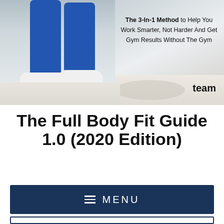[Figure (photo): Photo of a person in blue leggings and white/pink sneakers standing on a light wood floor, with a rattan chair in the background. Overlay text reads: The 3-In-1 Method to Help You Work Smarter, Not Harder And Get Gym Results Without The Gym. Word 'team' at bottom right.]
The 3-In-1 Method to Help You Work Smarter, Not Harder And Get Gym Results Without The Gym
team
The Full Body Fit Guide 1.0 (2020 Edition)
MENU